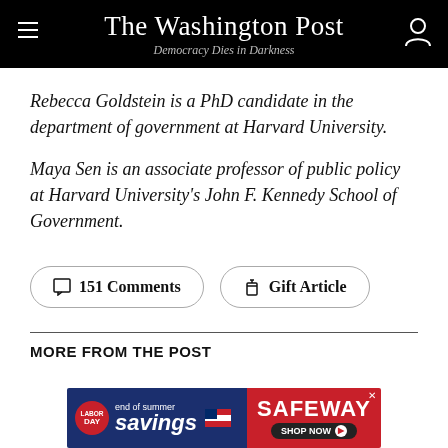The Washington Post — Democracy Dies in Darkness
Rebecca Goldstein is a PhD candidate in the department of government at Harvard University.
Maya Sen is an associate professor of public policy at Harvard University's John F. Kennedy School of Government.
151 Comments
Gift Article
MORE FROM THE POST
[Figure (screenshot): Safeway Labor Day end of summer savings advertisement banner]